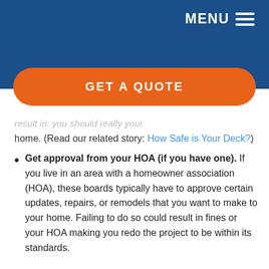MENU
[Figure (other): Orange 'GET A QUOTE' button on blue header background]
home. (Read our related story: How Safe is Your Deck?)
Get approval from your HOA (if you have one). If you live in an area with a homeowner association (HOA), these boards typically have to approve certain updates, repairs, or remodels that you want to make to your home. Failing to do so could result in fines or your HOA making you redo the project to be within its standards.